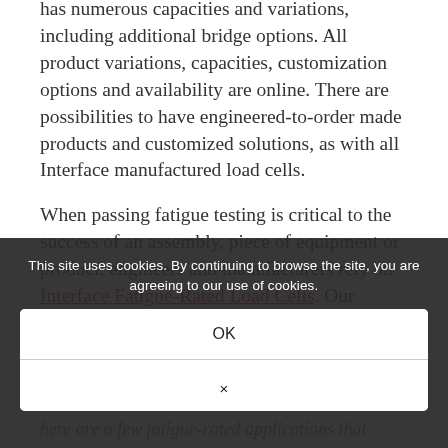has numerous capacities and variations, including additional bridge options. All product variations, capacities, customization options and availability are online. There are possibilities to have engineered-to-order made products and customized solutions, as with all Interface manufactured load cells.
When passing fatigue testing is critical to the success of an assembly, piece of equipment or product, engineers and manufacturers rely on Interface Fatigue-Rated Load Cells. Our fatigue rated load cells support a comprehensive array of test machines including hydraulic, auto and
This site uses cookies. By continuing to browse the site, you are agreeing to our use of cookies.
OK
×
here are a few fatigue-rated applications that